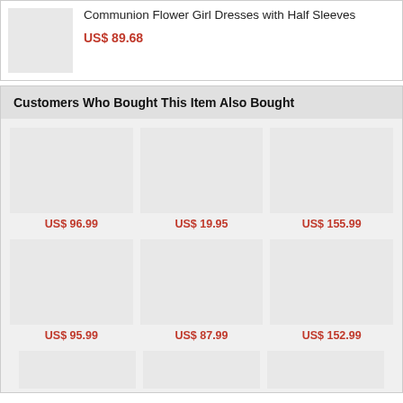Communion Flower Girl Dresses with Half Sleeves
US$ 89.68
Customers Who Bought This Item Also Bought
[Figure (photo): Product image placeholder 1]
US$ 96.99
[Figure (photo): Product image placeholder 2]
US$ 19.95
[Figure (photo): Product image placeholder 3]
US$ 155.99
[Figure (photo): Product image placeholder 4]
US$ 95.99
[Figure (photo): Product image placeholder 5]
US$ 87.99
[Figure (photo): Product image placeholder 6]
US$ 152.99